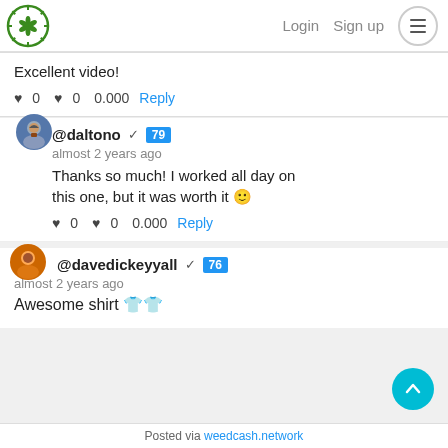Login  Sign up
Excellent video!
♥ 0   ♥ 0   0.000   Reply
@daltono ✓ 79
almost 2 years ago
Thanks so much! I worked all day on this one, but it was worth it 🙂
♥ 0   ♥ 0   0.000   Reply
@davedickeyyall ✓ 76
almost 2 years ago
Awesome shirt 👕👕
Posted via weedcash.network